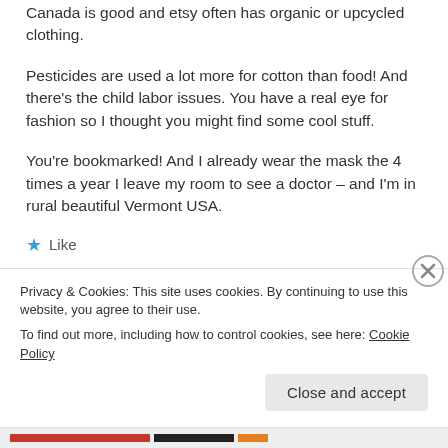Canada is good and etsy often has organic or upcycled clothing.
Pesticides are used a lot more for cotton than food! And there's the child labor issues. You have a real eye for fashion so I thought you might find some cool stuff.
You're bookmarked! And I already wear the mask the 4 times a year I leave my room to see a doctor – and I'm in rural beautiful Vermont USA.
★ Like
REPLY
Privacy & Cookies: This site uses cookies. By continuing to use this website, you agree to their use. To find out more, including how to control cookies, see here: Cookie Policy
Close and accept